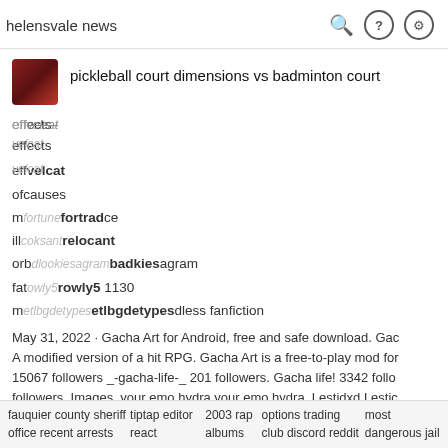helensvale news
pickleball court dimensions vs badminton court
effects / velcat
ofcauses
mortrace / fortune
illcakesnt / relocant
orbdlookiesagram / badkiesagram
fatonly5 1130 / rowly5 1130
metlbgdetypes / endless fanfiction
May 31, 2022 · Gacha Art for Android, free and safe download. Gac... A modified version of a hit RPG. Gacha Art is a free-to-play mod for... 15067 followers _-gacha-life-_201 followers. Gacha life! 3342 follo... followers. Images. your emo hydra your emo hydra. Lestidxd Lestic... 24k_Linaa. Ironiclocket127 Ironiclocket127. Picsart. apple store; an... store; Photo Editor; Video Editor; Mobile Apps; For Developers; Quic... Gacha Art Apk . Addeddate 2022-04-22 06:13:55 Identifier gacha-a
fauquier county sheriff office recent arrests | tiptap editor react | 2003 rap albums | options trading club discord reddit | most dangerous jail